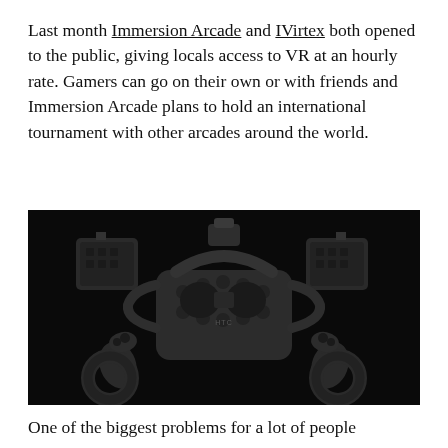Last month Immersion Arcade and IVirtex both opened to the public, giving locals access to VR at an hourly rate. Gamers can go on their own or with friends and Immersion Arcade plans to hold an international tournament with other arcades around the world.
[Figure (photo): Photo of HTC Vive VR headset with two motion controllers and two base station sensors on a black background.]
One of the biggest problems for a lot of people